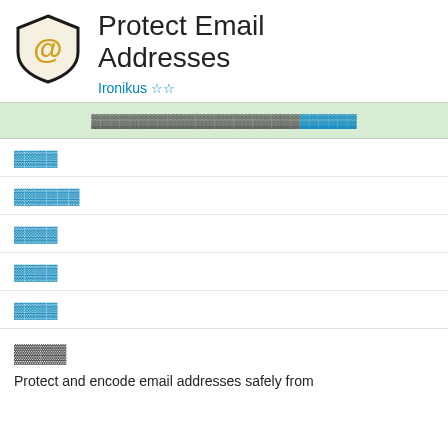[Figure (logo): Shield-shaped logo with '@' symbol in yellow/gold on a cream background with black border]
Protect Email Addresses
Ironikus ☆☆
▓▓▓▓▓▓▓▓▓▓▓▓▓▓▓▓▓▓▓▓▓▓ [link]
▓▓▓▓
▓▓▓▓▓▓
▓▓▓▓
▓▓▓▓
▓▓▓▓
▓▓▓▓
Protect and encode email addresses safely from...